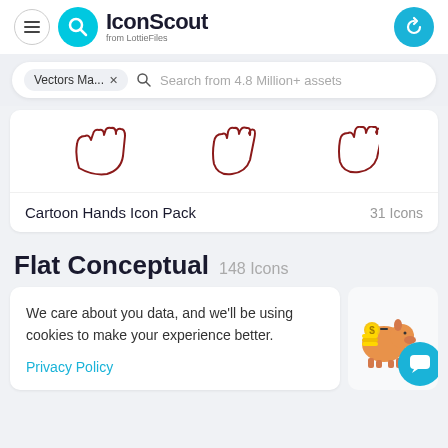IconScout from LottieFiles
Vectors Ma... × Search from 4.8 Million+ assets
[Figure (illustration): Three cartoon hand outline icons in dark red/maroon color on white background]
Cartoon Hands Icon Pack    31 Icons
Flat Conceptual  148 Icons
We care about you data, and we'll be using cookies to make your experience better.
Privacy Policy